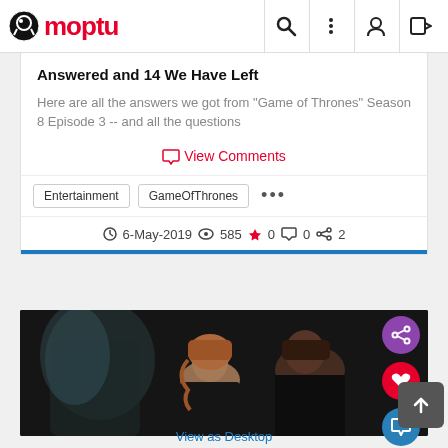Moptu
Answered and 14 We Have Left
Here are all the answers we got from "Game of Thrones" Season 8 Episode 3 -- and all the questions
View Comments
Entertainment  GameOfThrones  ...
6-May-2019  585  0  0  2
[Figure (photo): Two female characters from Game of Thrones in a dark scene, one with braided red hair and one in dark clothing]
View as Desktop